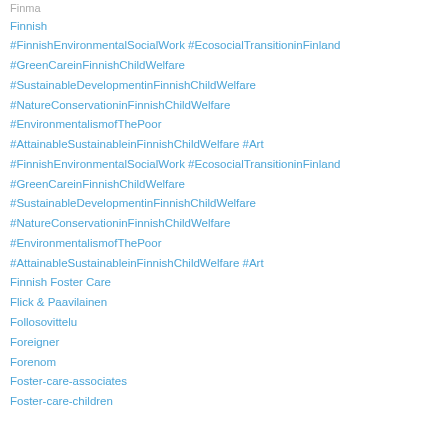Finma
Finnish
#FinnishEnvironmentalSocialWork #EcosocialTransitioninFinland
#GreenCareinFinnishChildWelfare
#SustainableDevelopmentinFinnishChildWelfare
#NatureConservationinFinnishChildWelfare
#EnvironmentalismofThePoor
#AttainableSustainableinFinnishChildWelfare #Art
#FinnishEnvironmentalSocialWork #EcosocialTransitioninFinland
#GreenCareinFinnishChildWelfare
#SustainableDevelopmentinFinnishChildWelfare
#NatureConservationinFinnishChildWelfare
#EnvironmentalismofThePoor
#AttainableSustainableinFinnishChildWelfare #Art
Finnish Foster Care
Flick & Paavilainen
Follosovittelu
Foreigner
Forenom
Foster-care-associates
Foster-care-children